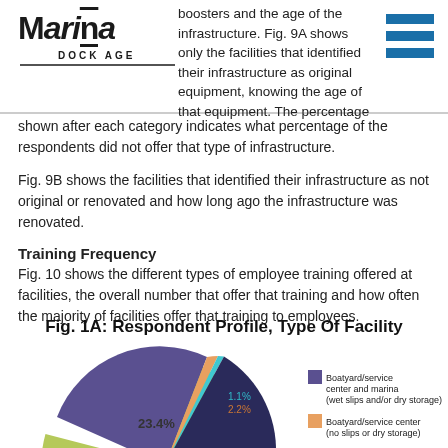Marina Dock Age
boosters and the age of the infrastructure. Fig. 9A shows only the facilities that identified their infrastructure as original equipment, knowing the age of that equipment. The percentage shown after each category indicates what percentage of the respondents did not offer that type of infrastructure.
Fig. 9B shows the facilities that identified their infrastructure as not original or renovated and how long ago the infrastructure was renovated.
Training Frequency
Fig. 10 shows the different types of employee training offered at facilities, the overall number that offer that training and how often the majority of facilities offer that training to employees.
[Figure (pie-chart): Fig. 1A: Respondent Profile, Type Of Facility]